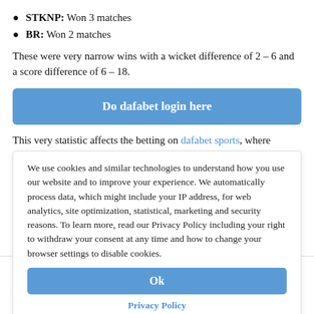STKNP: Won 3 matches
BR: Won 2 matches
These were very narrow wins with a wicket difference of 2 – 6 and a score difference of 6 – 18.
[Figure (other): Blue CTA button: Do dafabet login here]
This very statistic affects the betting on dafabet sports, where we can find several events under the sections like Main, over – by – Total – by...
We use cookies and similar technologies to understand how you use our website and to improve your experience. We automatically process data, which might include your IP address, for web analytics, site optimization, statistical, marketing and security reasons. To learn more, read our Privacy Policy including your right to withdraw your consent at any time and how to change your browser settings to disable cookies.
[Figure (other): Ok button (blue)]
Privacy Policy
Head-to-Head Match: 2.20 1.71
Who will win the toss? 1.92 1.92
Will there be a tie? 1.18 (Y)   Privacy Policy
News  Bookmakers  Bonus